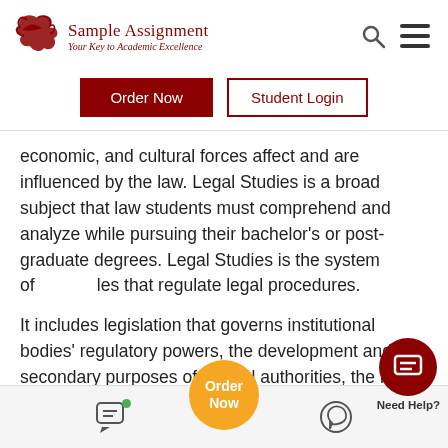[Figure (logo): Sample Assignment logo with red bird graphic and tagline 'Your Key to Academic Excellence']
economic, and cultural forces affect and are influenced by the law. Legal Studies is a broad subject that law students must comprehend and analyze while pursuing their bachelor's or post-graduate degrees. Legal Studies is the system of rules that regulate legal procedures.
It includes legislation that governs institutional bodies' regulatory powers, the development and secondary purposes of federal authorities, the legal responsibilities of public authorities, and the ability of ordinary courts to supervise legal agencies. It governs